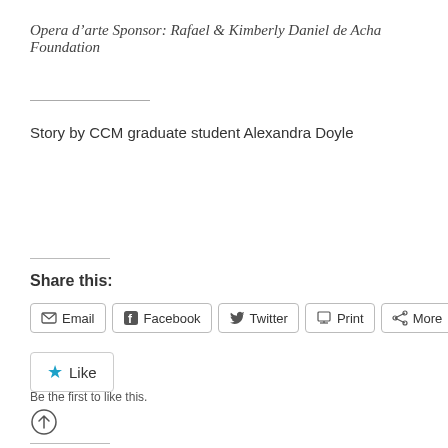Opera d’arte Sponsor: Rafael & Kimberly Daniel de Acha Foundation
Story by CCM graduate student Alexandra Doyle
Share this:
Email  Facebook  Twitter  Print  More
Like
Be the first to like this.